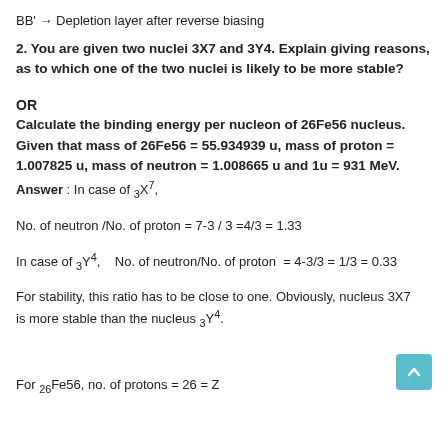BB' → Depletion layer after reverse biasing
2. You are given two nuclei 3X7 and 3Y4. Explain giving reasons, as to which one of the two nuclei is likely to be more stable?
OR
Calculate the binding energy per nucleon of 26Fe56 nucleus. Given that mass of 26Fe56 = 55.934939 u, mass of proton = 1.007825 u, mass of neutron = 1.008665 u and 1u = 931 MeV.
Answer : In case of 3X7,
No. of neutron /No. of proton = 7-3 / 3 =4/3 = 1.33
In case of 3Y4,   No. of neutron/No. of proton  = 4-3/3 = 1/3 = 0.33
For stability, this ratio has to be close to one. Obviously, nucleus 3X7 is more stable than the nucleus 3Y4.
For 26Fe56, no. of protons = 26 = Z